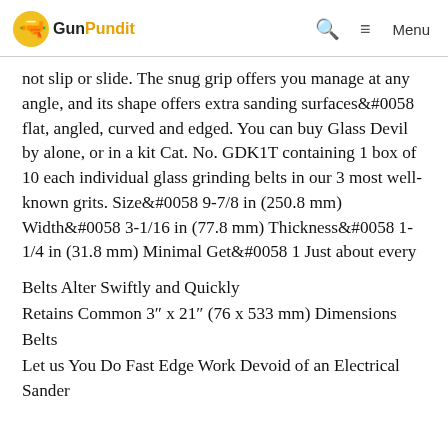GunPundit  🔍  ≡ Menu
not slip or slide. The snug grip offers you manage at any angle, and its shape offers extra sanding surfaces&#0058 flat, angled, curved and edged. You can buy Glass Devil by alone, or in a kit Cat. No. GDK1T containing 1 box of 10 each individual glass grinding belts in our 3 most well-known grits. Size&#0058 9-7/8 in (250.8 mm) Width&#0058 3-1/16 in (77.8 mm) Thickness&#0058 1-1/4 in (31.8 mm) Minimal Get&#0058 1 Just about every
Belts Alter Swiftly and Quickly
Retains Common 3″ x 21″ (76 x 533 mm) Dimensions Belts
Let us You Do Fast Edge Work Devoid of an Electrical Sander